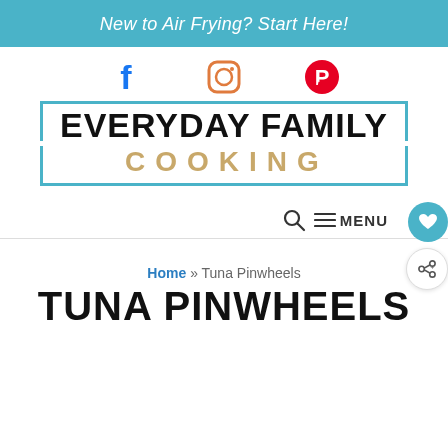New to Air Frying? Start Here!
[Figure (logo): Social media icons: Facebook (blue), Instagram (orange outline), Pinterest (red)]
[Figure (logo): Everyday Family Cooking logo with teal bracket border]
MENU
Home » Tuna Pinwheels
TUNA PINWHEELS